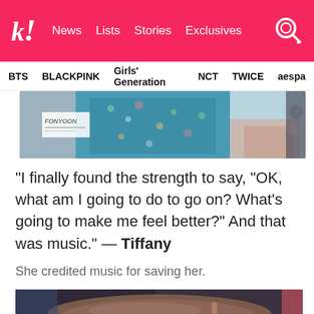k! News  Lists  Stories  Exclusives
BTS  BLACKPINK  Girls' Generation  NCT  TWICE  aespa
[Figure (photo): Partial photo of a person in a teal/floral outfit at an airport, with a handwritten sign visible reading 'FONYOON']
“I finally found the strength to say, “OK, what am I going to do to go on? What’s going to make me feel better?” And that was music.” — Tiffany
She credited music for saving her.
[Figure (photo): Bottom portion of a photo showing the top of a person's brown/dark hair against a blurred background]